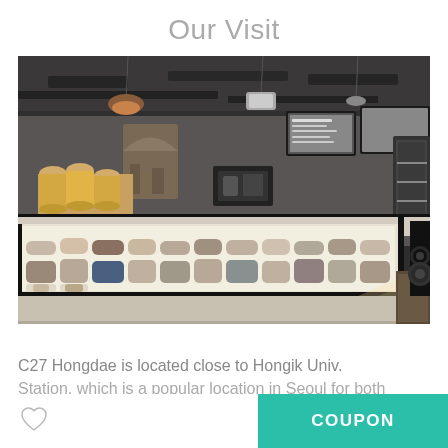Our Visit
[Figure (photo): Interior of C27 Hongdae bakery/cafe showing a long illuminated glass display case filled with cakes and pastries, with yellow mugs on the counter top, pendant lights, and menu boards on the wall.]
C27 Hongdae is located close to Hongik Univ. Station, which is a popular location in Seoul for both
COUPON